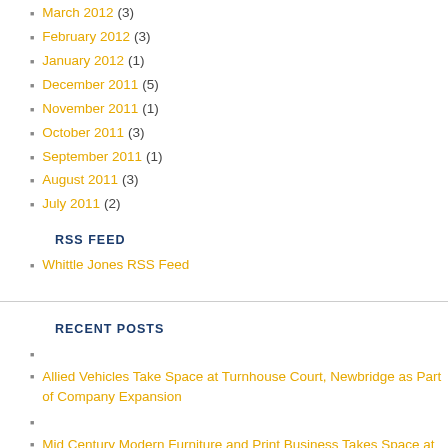March 2012 (3)
February 2012 (3)
January 2012 (1)
December 2011 (5)
November 2011 (1)
October 2011 (3)
September 2011 (1)
August 2011 (3)
July 2011 (2)
RSS FEED
Whittle Jones RSS Feed
RECENT POSTS
Allied Vehicles Take Space at Turnhouse Court, Newbridge as Part of Company Expansion
Mid Century Modern Furniture and Print Business Takes Space at Lake Enterprise Park, Doncaster
CMS Furniture & Beds Open New Showroom at Croft Trade Park